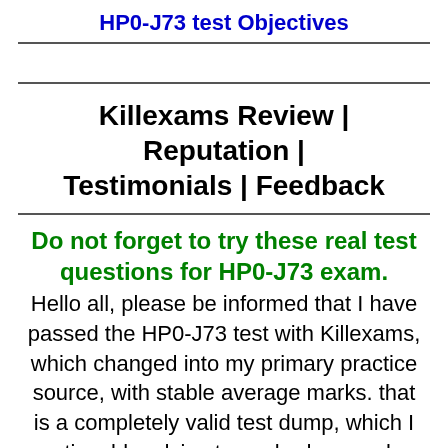HP0-J73 test Objectives
Killexams Review | Reputation | Testimonials | Feedback
Do not forget to try these real test questions for HP0-J73 exam. Hello all, please be informed that I have passed the HP0-J73 test with Killexams, which changed into my primary practice source, with stable average marks. that is a completely valid test dump, which I noticeably advise to anybody remarks towards their IT certification. that is a